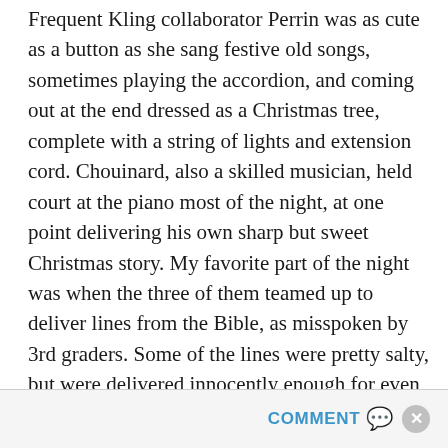Frequent Kling collaborator Perrin was as cute as a button as she sang festive old songs, sometimes playing the accordion, and coming out at the end dressed as a Christmas tree, complete with a string of lights and extension cord. Chouinard, also a skilled musician, held court at the piano most of the night, at one point delivering his own sharp but sweet Christmas story. My favorite part of the night was when the three of them teamed up to deliver lines from the Bible, as misspoken by 3rd graders. Some of the lines were pretty salty, but were delivered innocently enough for even the most devout to keep from taking offense.
COMMENT